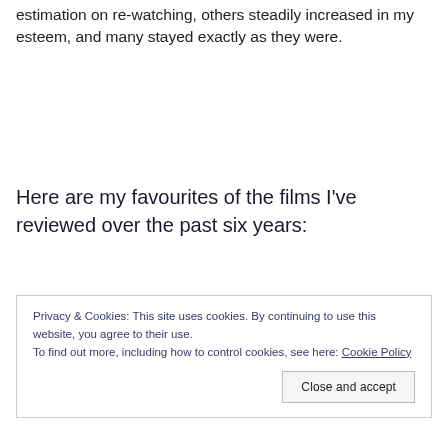estimation on re-watching, others steadily increased in my esteem, and many stayed exactly as they were.
Here are my favourites of the films I've reviewed over the past six years:
Privacy & Cookies: This site uses cookies. By continuing to use this website, you agree to their use.
To find out more, including how to control cookies, see here: Cookie Policy
Close and accept